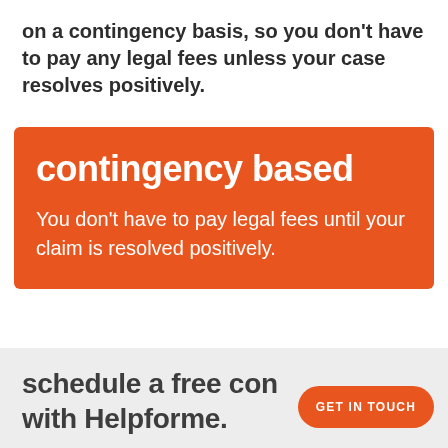on a contingency basis, so you don't have to pay any legal fees unless your case resolves positively.
[Figure (infographic): Orange box with heading 'contingency based' and body text 'You don't have to pay legal fees until your claim is resolved positively.']
schedule a free con with Helpforme.
GET IN TOUCH